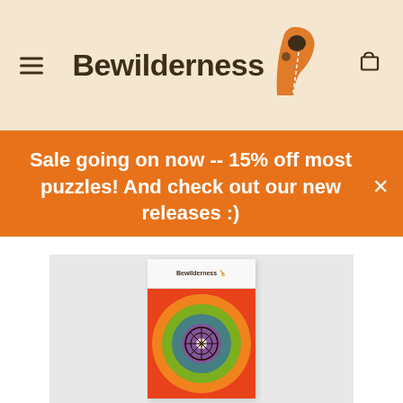[Figure (logo): Bewilderness logo with puzzle piece and giraffe neck illustration, on cream/beige background with hamburger menu icon on left and cart icon on right]
Sale going on now -- 15% off most puzzles! And check out our new releases :)
[Figure (photo): Product photo of a Bewilderness puzzle box showing a colorful mandala design on a light gray background]